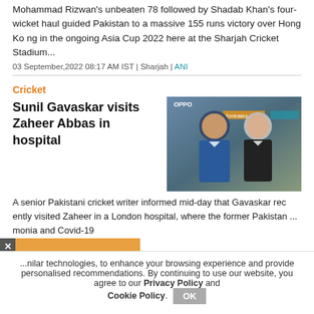Mohammad Rizwan's unbeaten 78 followed by Shadab Khan's four-wicket haul guided Pakistan to a massive 155 runs victory over Hong Kong in the ongoing Asia Cup 2022 here at the Sharjah Cricket Stadium...
03 September,2022 08:17 AM IST | Sharjah | ANI
Cricket
Sunil Gavaskar visits Zaheer Abbas in hospital
[Figure (photo): Photo of two men, presumably Sunil Gavaskar and Zaheer Abbas, at a formal event with Emirates and OPPO branding in background]
A senior Pakistani cricket writer informed mid-day that Gavaskar recently visited Zaheer in a London hospital, where the former Pakistan ... monia and Covid-19
Debasish Datta
[Figure (logo): CBI (Central Bureau of Investigation) India seal/logo on orange background popup overlay]
...nilar technologies, to enhance your browsing experience and provide personalised recommendations. By continuing to use our website, you agree to our Privacy Policy and Cookie Policy.